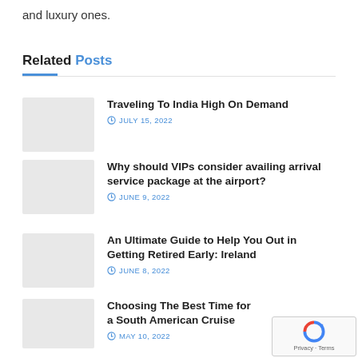and luxury ones.
Related Posts
Traveling To India High On Demand
JULY 15, 2022
Why should VIPs consider availing arrival service package at the airport?
JUNE 9, 2022
An Ultimate Guide to Help You Out in Getting Retired Early: Ireland
JUNE 8, 2022
Choosing The Best Time for a South American Cruise
MAY 10, 2022